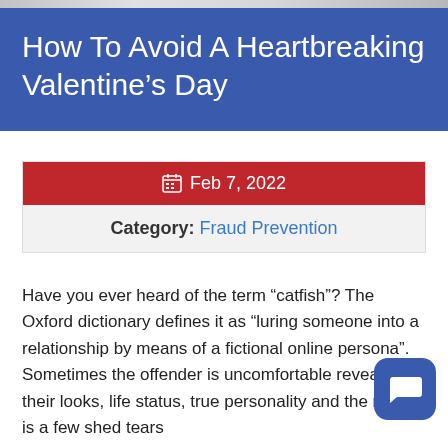[Figure (photo): Partial image strip at very top of page, appears to be a decorative header image]
How To Avoid A Heartbreaking Valentine's Day
Feb 7, 2022
Category: Fraud Prevention
Have you ever heard of the term “catfish”? The Oxford dictionary defines it as “luring someone into a relationship by means of a fictional online persona”. Sometimes the offender is uncomfortable revealing their looks, life status, true personality and the result is a few shed tears